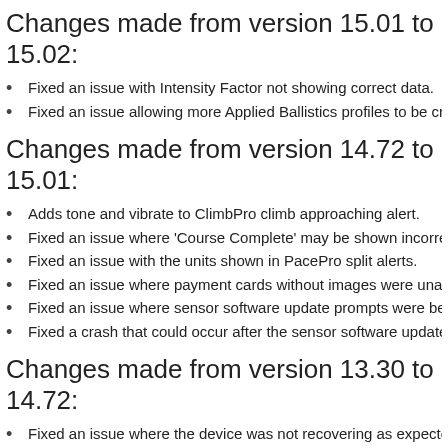Changes made from version 15.01 to 15.02:
Fixed an issue with Intensity Factor not showing correct data.
Fixed an issue allowing more Applied Ballistics profiles to be created (tactix Delta - Solar Edition with Ballistics)
Changes made from version 14.72 to 15.01:
Adds tone and vibrate to ClimbPro climb approaching alert.
Fixed an issue where 'Course Complete' may be shown incorrectly.
Fixed an issue with the units shown in PacePro split alerts.
Fixed an issue where payment cards without images were unable to
Fixed an issue where sensor software update prompts were being dis
Fixed a crash that could occur after the sensor software update prom
Changes made from version 13.30 to 14.72:
Fixed an issue where the device was not recovering as expected afte
Fixed an issue where the device may display a blank segment page i
Fixed an issue where the HRM pro update message flow was display
Fixed an issue where 'Do Not Disturb' prevents gesture backlight fron
Fixed an issue where the heart rate graph may intermittently display a
Fixed an issue where average speed during a Surf activity may be hi